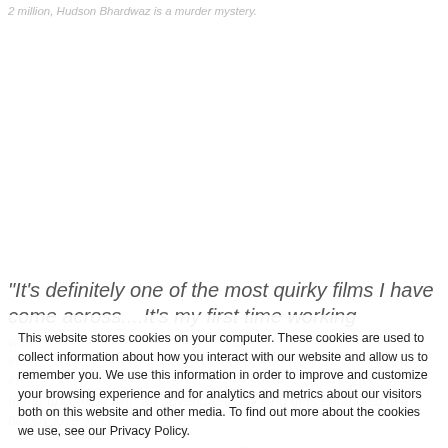2 million, Hudson Bhardwaz is a murder mystery.
“It’s definitely one of the most quirky films I have come across....It’s my first time working with...being in...in...
In the upcoming film “an adventures guy who gets entangled in a bloody love story”
“It’s an exciting co- inc... rafter in the film which...y
This website stores cookies on your computer. These cookies are used to collect information about how you interact with our website and allow us to remember you. We use this information in order to improve and customize your browsing experience and for analytics and metrics about our visitors both on this website and other media. To find out more about the cookies we use, see our Privacy Policy.